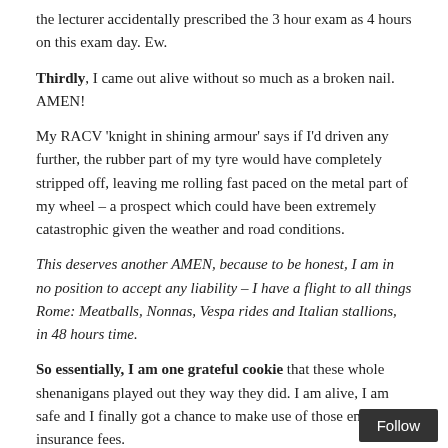the lecturer accidentally prescribed the 3 hour exam as 4 hours on this exam day. Ew.
Thirdly, I came out alive without so much as a broken nail. AMEN!
My RACV 'knight in shining armour' says if I'd driven any further, the rubber part of my tyre would have completely stripped off, leaving me rolling fast paced on the metal part of my wheel – a prospect which could have been extremely catastrophic given the weather and road conditions.
This deserves another AMEN, because to be honest, I am in no position to accept any liability – I have a flight to all things Rome: Meatballs, Nonnas, Vespa rides and Italian stallions, in 48 hours time.
So essentially, I am one grateful cookie that these whole shenanigans played out they way they did. I am alive, I am safe and I finally got a chance to make use of those endless insurance fees.
Sure it doesn't have the protein, energy and fibre of 2 Weetbix and Milk like my favourite, Chocolate Up&Go carton, but it's pretty damn full of goodness.
Yay for being alive!